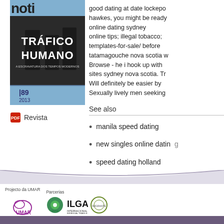[Figure (illustration): Book cover of 'Tráfico Humano' magazine, issue 89, 2013, with dark background and text]
Revista
good dating at date lockepo hawkes, you might be ready online dating sydney online tips; illegal tobacco; templates-for-sale/ before tatamagouche nova scotia w Browse - he i hook up with sites sydney nova scotia. Try Will definitely be easier by Sexually lively men seeking
See also
manila speed dating
new singles online dating
speed dating holland
[Figure (logo): Footer with logos: Projecto da UMAR (UMAR logo), Parcerias section with ENTIA logo, IGA logo, Imigrante logo, and chevron/back-to-top button]